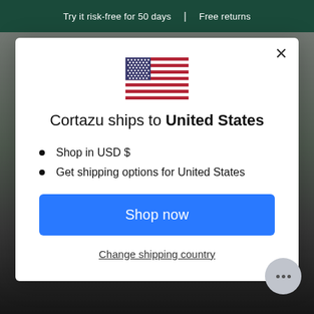Try it risk-free for 50 days | Free returns
[Figure (illustration): US flag emoji / illustration centered in modal]
Cortazu ships to United States
Shop in USD $
Get shipping options for United States
Shop now
Change shipping country